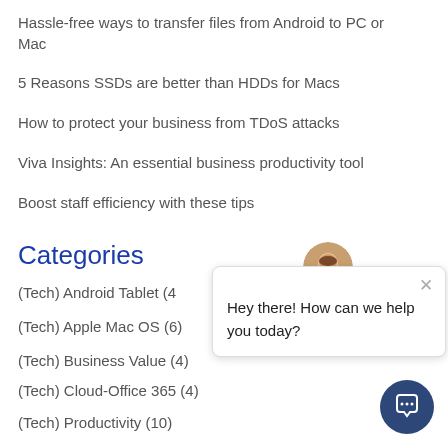Hassle-free ways to transfer files from Android to PC or Mac
5 Reasons SSDs are better than HDDs for Macs
How to protect your business from TDoS attacks
Viva Insights: An essential business productivity tool
Boost staff efficiency with these tips
Categories
(Tech) Android Tablet (4
(Tech) Apple Mac OS (6)
(Tech) Business Value (4)
(Tech) Cloud-Office 365 (4)
(Tech) Productivity (10)
[Figure (screenshot): Chat popup with avatar and message 'Hey there! How can we help you today?']